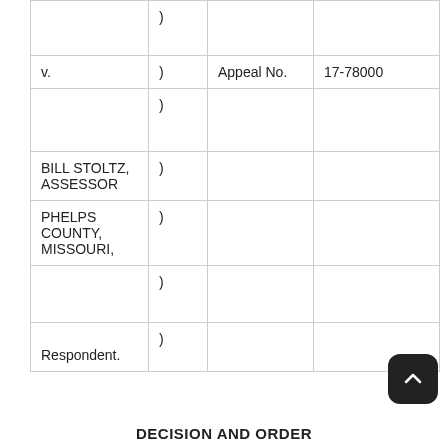|  | ) |  |  |
| v. | ) | Appeal No. | 17-78000 |
|  | ) |  |  |
| BILL STOLTZ, ASSESSOR | ) |  |  |
| PHELPS COUNTY, MISSOURI, | ) |  |  |
|  | ) |  |  |
| Respondent. | ) |  |  |
DECISION AND ORDER